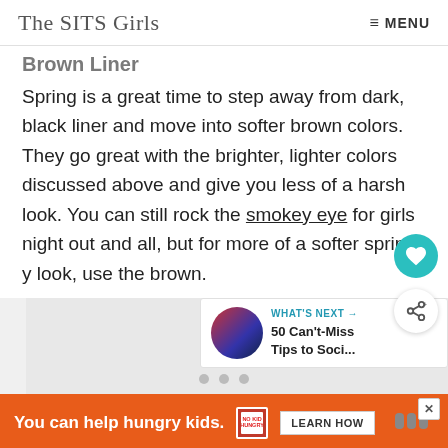The SITS Girls  ≡ MENU
Brown Liner
Spring is a great time to step away from dark, black liner and move into softer brown colors. They go great with the brighter, lighter colors discussed above and give you less of a harsh look. You can still rock the smokey eye for girls night out and all, but for more of a softer spring-y look, use the brown.
[Figure (other): Heart (favorite) floating action button in teal circle]
[Figure (other): Share floating action button in white circle with shadow]
[Figure (other): What's Next panel: '50 Can't-Miss Tips to Soci...' with circular thumbnail image]
[Figure (other): Carousel with three dots and large light gray image area]
[Figure (other): Advertisement banner: 'You can help hungry kids.' No Kid Hungry logo, LEARN HOW button, close X button]